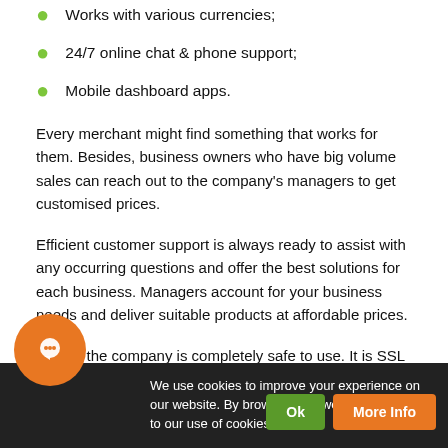Works with various currencies;
24/7 online chat & phone support;
Mobile dashboard apps.
Every merchant might find something that works for them. Besides, business owners who have big volume sales can reach out to the company's managers to get customised prices.
Efficient customer support is always ready to assist with any occurring questions and offer the best solutions for each business. Managers account for your business needs and deliver suitable products at affordable prices.
Finally, the company is completely safe to use. It is SSL protected, which means that both merchant and customers' information is secure through the payment process. Stripe is PCI compliant and tokenization is provided for all credit and debit card numbers.
We use cookies to improve your experience on our website. By browsing this website, you agree to our use of cookies.